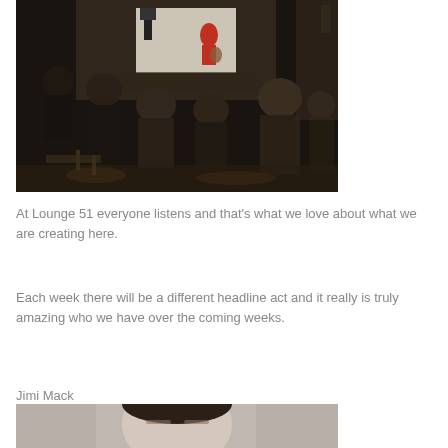[Figure (photo): Interior of Lounge 51: audience seated in chairs watching a musician performing on a small stage area, dimly lit room with brick walls and warm ambient lighting]
At Lounge 51 everyone listens and that's what we love about what we are creating here.
Each week there will be a different headline act and it really is truly amazing who we have over the coming weeks.
Jimi Mack
[Figure (photo): Partial view of a person, close-up portrait shot, cropped at bottom of page]